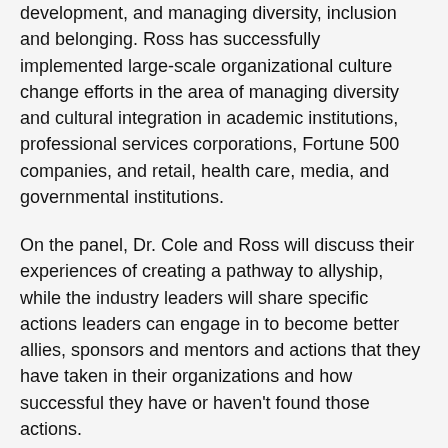development, and managing diversity, inclusion and belonging. Ross has successfully implemented large-scale organizational culture change efforts in the area of managing diversity and cultural integration in academic institutions, professional services corporations, Fortune 500 companies, and retail, health care, media, and governmental institutions.
On the panel, Dr. Cole and Ross will discuss their experiences of creating a pathway to allyship, while the industry leaders will share specific actions leaders can engage in to become better allies, sponsors and mentors and actions that they have taken in their organizations and how successful they have or haven't found those actions.
Suzanne Williams-Charles, Director of Policy & Regulation and Corporate Secretary of ABIR, said: “Our aim in bringing together this combination of industry and academic expertise and experience is to advance the discussion on the practicalities of embedding and nurturing a DEI culture within organizations.